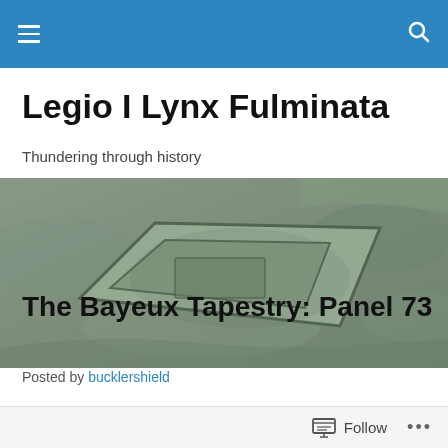Navigation bar with hamburger menu and search icon
Legio I Lynx Fulminata
Thundering through history
[Figure (photo): Aerial photograph of an ancient Roman fort or earthwork visible as crop marks or ground features in a dry, sandy landscape. The rectangular outline with internal features is clearly visible from above.]
The Bayeux Tapestry: Panel 73
Posted by bucklershield
Follow ...